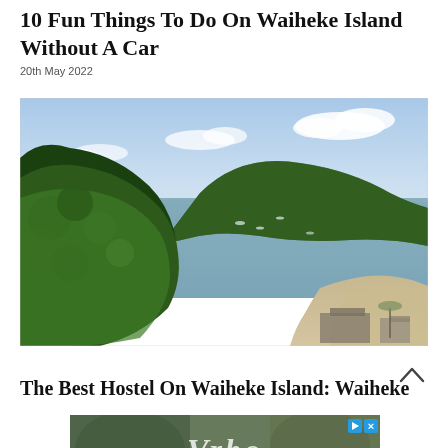10 Fun Things To Do On Waiheke Island Without A Car
20th May 2022
[Figure (photo): Aerial/elevated view of Waiheke Island coastal bay with lush green vegetation in the foreground, calm blue-grey water, a forested headland in the middle distance, cloudy sky above, and a sandy beach with buildings visible at bottom right.]
The Best Hostel On Waiheke Island: Waiheke
[Figure (screenshot): Vrbo advertisement banner with script logo text 'Vrbo' in white over a blurred outdoor background, with play and close control buttons in the top right corner.]